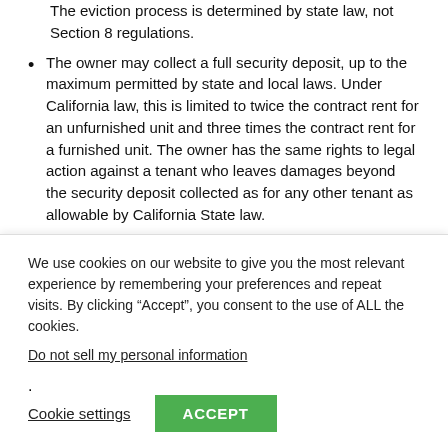The eviction process is determined by state law, not Section 8 regulations.
The owner may collect a full security deposit, up to the maximum permitted by state and local laws. Under California law, this is limited to twice the contract rent for an unfurnished unit and three times the contract rent for a furnished unit. The owner has the same rights to legal action against a tenant who leaves damages beyond the security deposit collected as for any other tenant as allowable by California State law.
Once a HAP contract has been fully executed, the
We use cookies on our website to give you the most relevant experience by remembering your preferences and repeat visits. By clicking “Accept”, you consent to the use of ALL the cookies.
Do not sell my personal information.